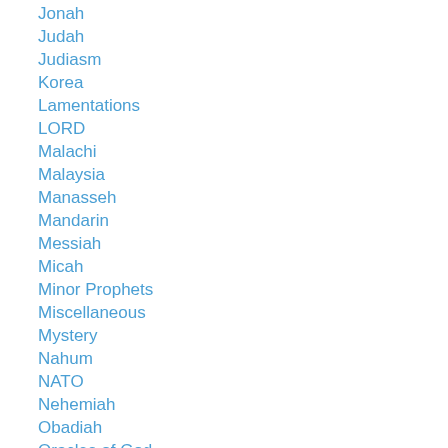Jonah
Judah
Judiasm
Korea
Lamentations
LORD
Malachi
Malaysia
Manasseh
Mandarin
Messiah
Micah
Minor Prophets
Miscellaneous
Mystery
Nahum
NATO
Nehemiah
Obadiah
Oracles of God